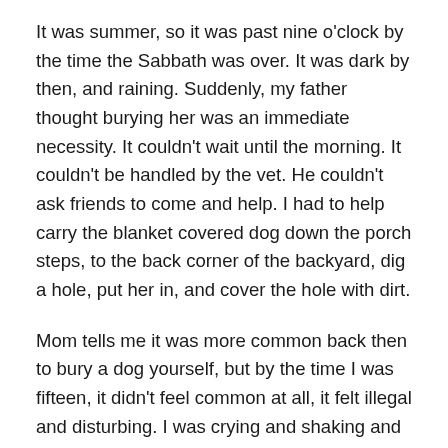It was summer, so it was past nine o'clock by the time the Sabbath was over. It was dark by then, and raining. Suddenly, my father thought burying her was an immediate necessity. It couldn't wait until the morning. It couldn't be handled by the vet. He couldn't ask friends to come and help. I had to help carry the blanket covered dog down the porch steps, to the back corner of the backyard, dig a hole, put her in, and cover the hole with dirt.
Mom tells me it was more common back then to bury a dog yourself, but by the time I was fifteen, it didn't feel common at all, it felt illegal and disturbing. I was crying and shaking and my father was yelling at me to hurry up and to shut up.
It wasn't a good way to say goodbye to someone who had